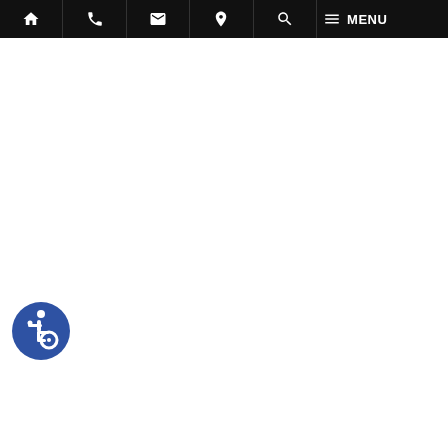Navigation bar with home, phone, email, location, search, and menu icons
[Figure (illustration): Accessibility icon - blue circle with white wheelchair user symbol]